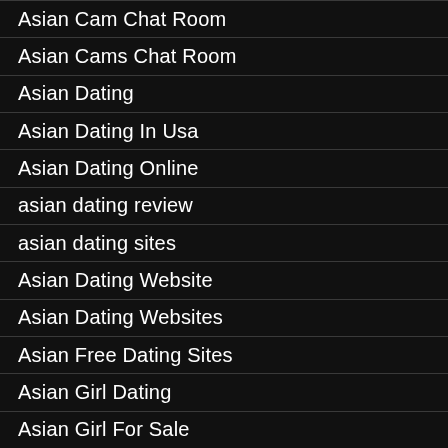Asian Cam Chat Room
Asian Cams Chat Room
Asian Dating
Asian Dating In Usa
Asian Dating Online
asian dating review
asian dating sites
Asian Dating Website
Asian Dating Websites
Asian Free Dating Sites
Asian Girl Dating
Asian Girl For Sale